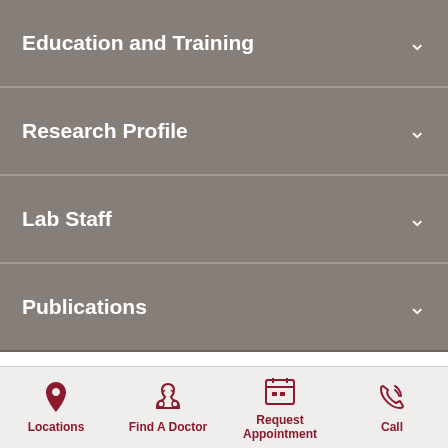Education and Training
Research Profile
Lab Staff
Publications
Contact Information
Lab Phone: 215-728-2891
Fax: 215-728-2553
Locations
Find A Doctor
Request Appointment
Call